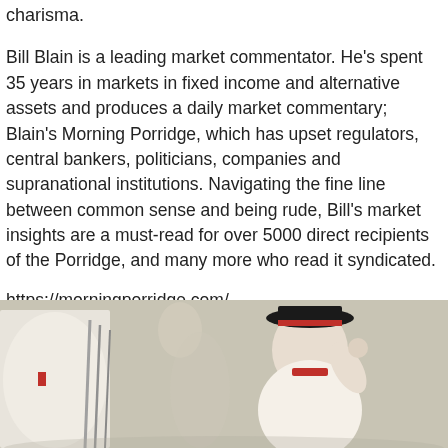charisma.
Bill Blain is a leading market commentator. He’s spent 35 years in markets in fixed income and alternative assets and produces a daily market commentary; Blain’s Morning Porridge, which has upset regulators, central bankers, politicians, companies and supranational institutions. Navigating the fine line between common sense and being rude, Bill’s market insights are a must-read for over 5000 direct recipients of the Porridge, and many more who read it syndicated.
https://morningporridge.com/
[Figure (photo): Photograph showing two people outdoors, one in white attire on the left and one in a black hat and red-trimmed coat on the right, saluting or gesturing.]